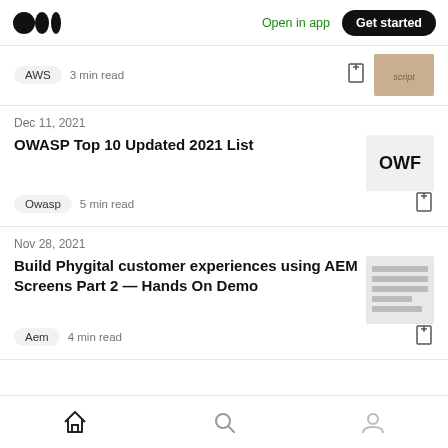Medium app navigation bar with logo, Open in app link, and Get started button
AWS  3 min read
Dec 11, 2021
OWASP Top 10 Updated 2021 List
Owasp  5 min read
Nov 28, 2021
Build Phygital customer experiences using AEM Screens Part 2 — Hands On Demo
Aem  4 min read
Home  Search  Profile